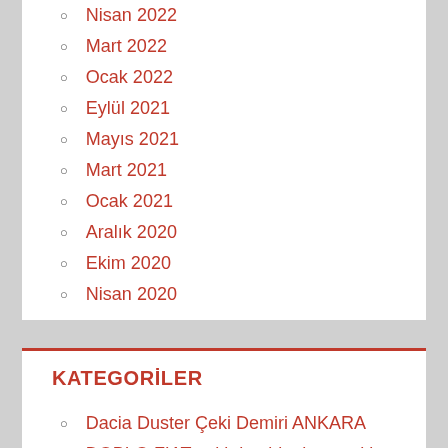Nisan 2022
Mart 2022
Ocak 2022
Eylül 2021
Mayıs 2021
Mart 2021
Ocak 2021
Aralık 2020
Ekim 2020
Nisan 2020
KATEGORİLER
Dacia Duster Çeki Demiri ANKARA
DOBLO FIAT çeki demiri takma çeki